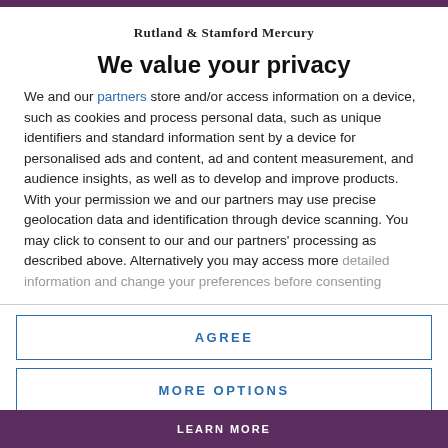Rutland & Stamford Mercury
We value your privacy
We and our partners store and/or access information on a device, such as cookies and process personal data, such as unique identifiers and standard information sent by a device for personalised ads and content, ad and content measurement, and audience insights, as well as to develop and improve products. With your permission we and our partners may use precise geolocation data and identification through device scanning. You may click to consent to our and our partners' processing as described above. Alternatively you may access more detailed information and change your preferences before consenting
AGREE
MORE OPTIONS
LEARN MORE